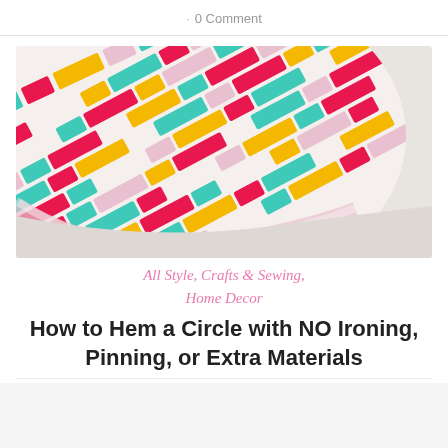0 Comment
[Figure (photo): Close-up photo of colorful woven fabric with a geometric checker/brick pattern in teal, pink/magenta, yellow/orange, white, and lavender colors, curved at the edge showing a circular hem]
All Style, Crafts & Sewing, Home Decor
How to Hem a Circle with NO Ironing, Pinning, or Extra Materials